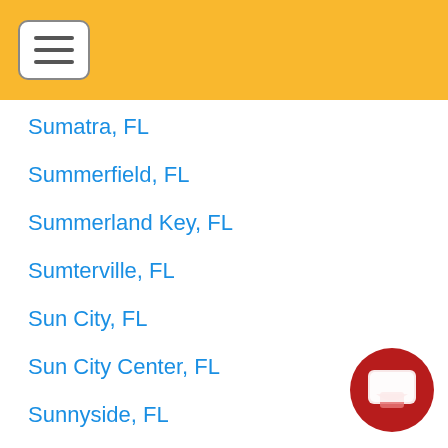Sumatra, FL
Summerfield, FL
Summerland Key, FL
Sumterville, FL
Sun City, FL
Sun City Center, FL
Sunnyside, FL
Suwannee, FL
Sydney, FL